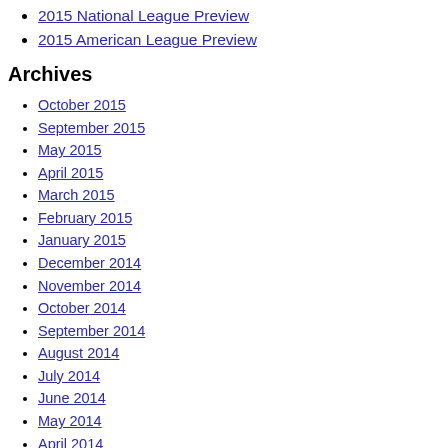2015 National League Preview
2015 American League Preview
Archives
October 2015
September 2015
May 2015
April 2015
March 2015
February 2015
January 2015
December 2014
November 2014
October 2014
September 2014
August 2014
July 2014
June 2014
May 2014
April 2014
February 2014
January 2014
December 2013
November 2013